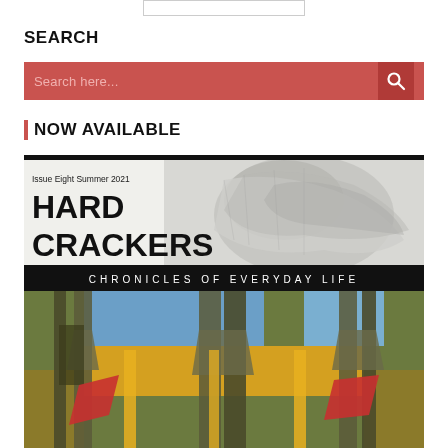SEARCH
[Figure (screenshot): Red search bar with placeholder text 'Search here...' and a search icon button on the right]
NOW AVAILABLE
[Figure (illustration): Magazine cover: Hard Crackers – Chronicles of Everyday Life, Issue Eight Summer 2021. Top half shows a detailed pencil/charcoal drawing of a crumpled metallic form. Black banner reads 'CHRONICLES OF EVERYDAY LIFE'. Bottom half shows a painting of abstract architectural/fence structures in olive, yellow, blue with red diagonal shapes.]